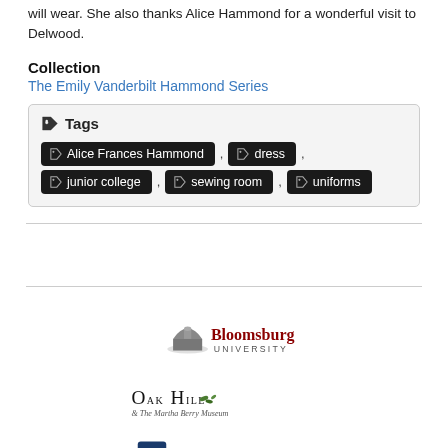will wear. She also thanks Alice Hammond for a wonderful visit to Delwood.
Collection
The Emily Vanderbilt Hammond Series
Tags: Alice Frances Hammond, dress, junior college, sewing room, uniforms
[Figure (logo): Bloomsburg University logo with dome icon and text]
[Figure (logo): Oak Hill & The Martha Berry Museum logo]
[Figure (logo): Berry College logo with B shield and text]